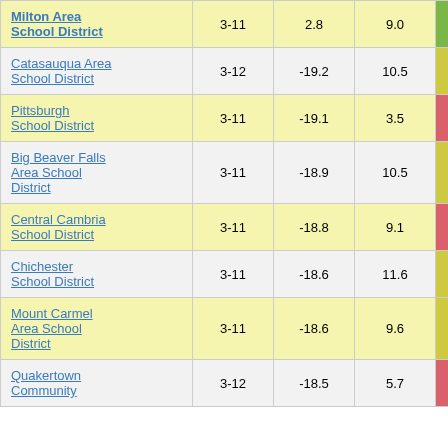| School District | Grades | Col3 | Col4 | Score |
| --- | --- | --- | --- | --- |
| Milton Area School District | 3-11 | 2.8 | 9.0 | 0.31 |
| Catasauqua Area School District | 3-12 | -19.2 | 10.5 | -1.81 |
| Pittsburgh School District | 3-11 | -19.1 | 3.5 | -5.38 |
| Big Beaver Falls Area School District | 3-11 | -18.9 | 10.5 | -1.80 |
| Central Cambria School District | 3-11 | -18.8 | 9.1 | -2.06 |
| Chichester School District | 3-11 | -18.6 | 11.6 | -1.60 |
| Mount Carmel Area School District | 3-11 | -18.6 | 9.6 | -1.93 |
| Quakertown Community | 3-12 | -18.5 | 5.7 | -2.31 |